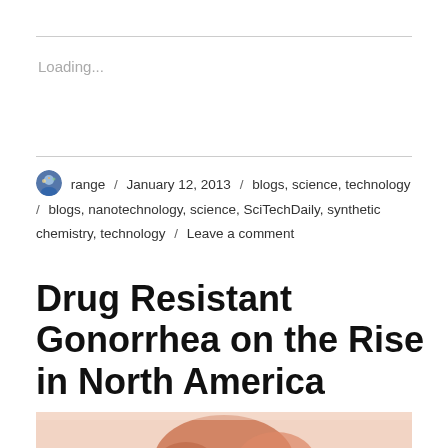Loading...
range / January 12, 2013 / blogs, science, technology / blogs, nanotechnology, science, SciTechDaily, synthetic chemistry, technology / Leave a comment
Drug Resistant Gonorrhea on the Rise in North America
[Figure (photo): Microscopic or close-up image, partially visible at bottom of page, showing reddish biological material]